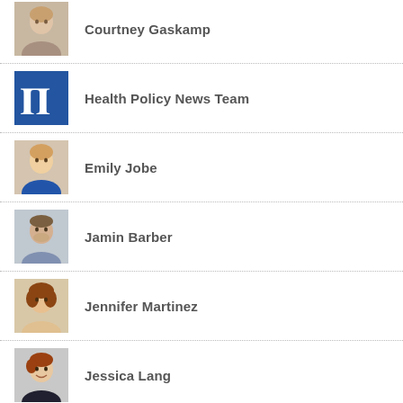Courtney Gaskamp
Health Policy News Team
Emily Jobe
Jamin Barber
Jennifer Martinez
Jessica Lang